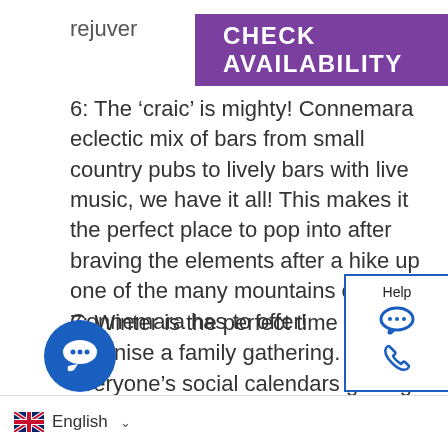[Figure (other): Purple 'CHECK AVAILABILITY' button overlaid on text]
6: The 'craic' is mighty! Connemara eclectic mix of bars from small country pubs to lively bars with live music, we have it all! This makes it the perfect place to pop into after braving the elements after a hike up one of the many mountains or hills Connemara has to offer!
7: Winter is the perfect time to organise a family gathering. With everyone's social calendars getting quieter in the winter months it makes it easier to pick weekends that suit everyone. Here in Connemara Lettings we have a number of large properties but also offer properties which are side by side or within walking distance of each other.
friendly properties- we understand that our often need a holiday too so we have an ndly properties – why should
[Figure (other): Help widget with chat and phone icons, blue border]
[Figure (other): Blue circular chat bubble icon bottom left]
English